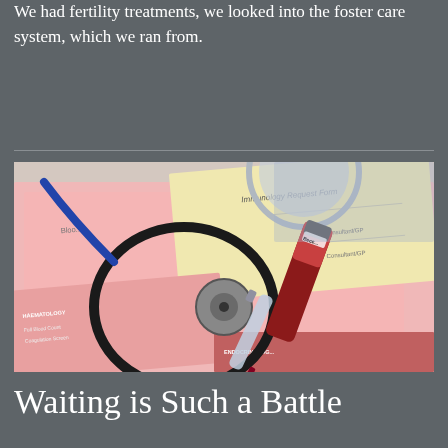We had fertility treatments, we looked into the foster care system, which we ran from.
[Figure (photo): Medical items including a stethoscope, blood test vials, a syringe, and immunology/haematology request forms spread on a pink background.]
Waiting is Such a Battle